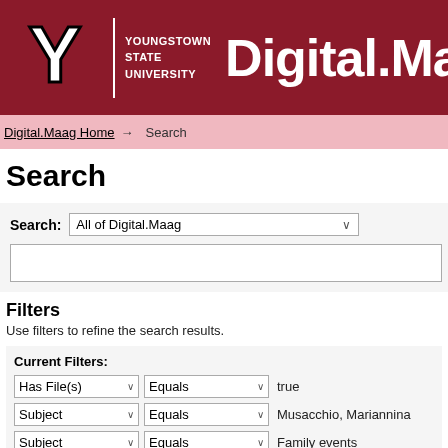[Figure (logo): Youngstown State University logo with Y letter mark and Digital.Maag text on dark red header]
Digital.Maag Home → Search
Search
Search: All of Digital.Maag
Filters
Use filters to refine the search results.
Current Filters:
Has File(s) Equals true
Subject Equals Musacchio, Mariannina
Subject Equals Family events
Subject Equals Religion/folk practices
Subject Equals Musacchio, Rita